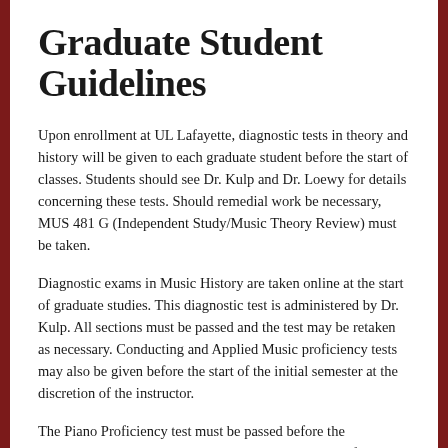Graduate Student Guidelines
Upon enrollment at UL Lafayette, diagnostic tests in theory and history will be given to each graduate student before the start of classes. Students should see Dr. Kulp and Dr. Loewy for details concerning these tests. Should remedial work be necessary, MUS 481 G (Independent Study/Music Theory Review) must be taken.
Diagnostic exams in Music History are taken online at the start of graduate studies. This diagnostic test is administered by Dr. Kulp. All sections must be passed and the test may be retaken as necessary. Conducting and Applied Music proficiency tests may also be given before the start of the initial semester at the discretion of the instructor.
The Piano Proficiency test must be passed before the comprehensive exams and should be taken during the first year of study.
No student who has completed all other requirements will be granted a degree...